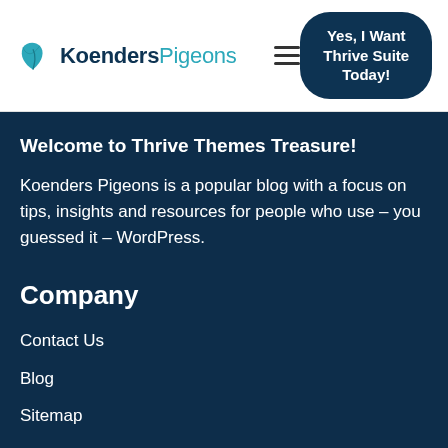KoendersPigeons — Yes, I Want Thrive Suite Today!
Welcome to Thrive Themes Treasure!
Koenders Pigeons is a popular blog with a focus on tips, insights and resources for people who use – you guessed it – WordPress.
Company
Contact Us
Blog
Sitemap
Legal & Info
Cookie Policy
Disclaimer Polic…